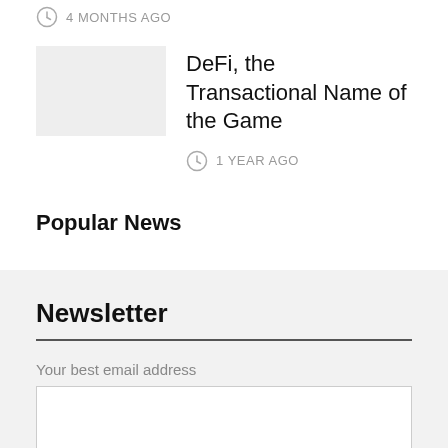4 MONTHS AGO
[Figure (photo): Thumbnail image placeholder for article]
DeFi, the Transactional Name of the Game
1 YEAR AGO
Popular News
Newsletter
Your best email address